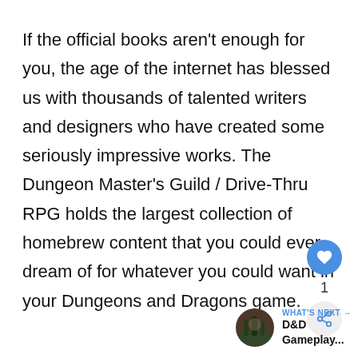If the official books aren't enough for you, the age of the internet has blessed us with thousands of talented writers and designers who have created some seriously impressive works. The Dungeon Master's Guild / Drive-Thru RPG holds the largest collection of homebrew content that you could ever dream of for whatever you could want in your Dungeons and Dragons game.
[Figure (infographic): Social media UI overlay: heart/like button (blue circle), like count '1', and share button (light circle with share icon)]
[Figure (infographic): What's Next widget: circular thumbnail of a forest/nature scene, label 'WHAT'S NEXT →', title 'D&D Gameplay...']